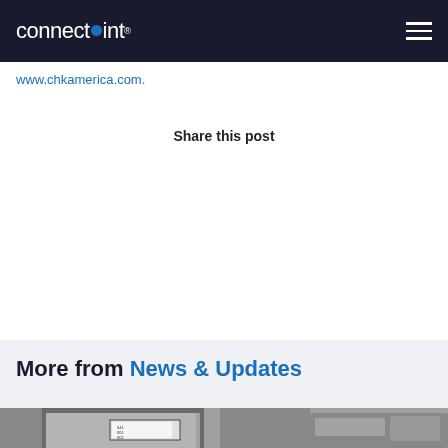connectpoint
www.chkamerica.com.
Share this post
More from News & Updates
[Figure (photo): Black and white photo of a bus stop shelter with a digital information display screen, a bus visible in the background on the right side]